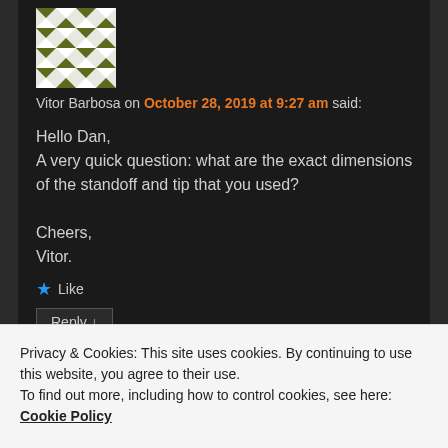[Figure (illustration): Geometric green and white quilt-pattern avatar image]
Vitor Barbosa on October 28, 2019 at 9:27 am said:
Hello Dan,
A very quick question: what are the exact dimensions of the standoff and tip that you used?

Cheers,
Vitor.
★ Like
Reply ↓
Privacy & Cookies: This site uses cookies. By continuing to use this website, you agree to their use.
To find out more, including how to control cookies, see here: Cookie Policy
Close and accept